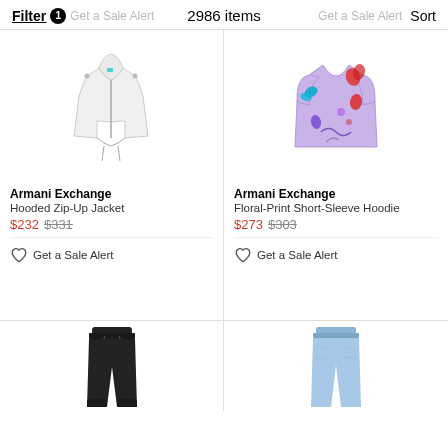Filter 1   2986 items   Get a Sale Alert   Sort
[Figure (photo): White hooded zip-up jacket product photo on white background]
Armani Exchange
Hooded Zip-Up Jacket
$232 $331
Get a Sale Alert
[Figure (photo): Lavender floral-print short-sleeve hoodie product photo on white background]
Armani Exchange
Floral-Print Short-Sleeve Hoodie
$273 $303
Get a Sale Alert
[Figure (photo): Black jogger pants partial product photo]
[Figure (photo): Light blue jeans partial product photo]